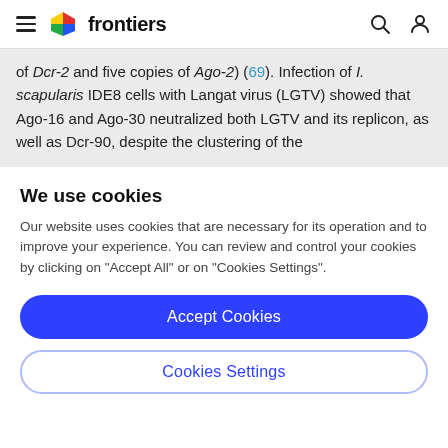frontiers
of Dcr-2 and five copies of Ago-2) (69). Infection of I. scapularis IDE8 cells with Langat virus (LGTV) showed that Ago-16 and Ago-30 neutralized both LGTV and its replicon, as well as Dcr-90, despite the clustering of the
We use cookies
Our website uses cookies that are necessary for its operation and to improve your experience. You can review and control your cookies by clicking on "Accept All" or on "Cookies Settings".
Accept Cookies
Cookies Settings